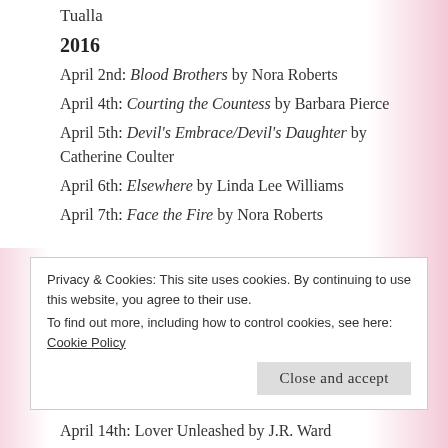Tualla
2016
April 2nd: Blood Brothers by Nora Roberts
April 4th: Courting the Countess by Barbara Pierce
April 5th: Devil's Embrace/Devil's Daughter by Catherine Coulter
April 6th: Elsewhere by Linda Lee Williams
April 7th: Face the Fire by Nora Roberts
Privacy & Cookies: This site uses cookies. By continuing to use this website, you agree to their use. To find out more, including how to control cookies, see here: Cookie Policy
April 14th: Lover Unleashed by J.R. Ward